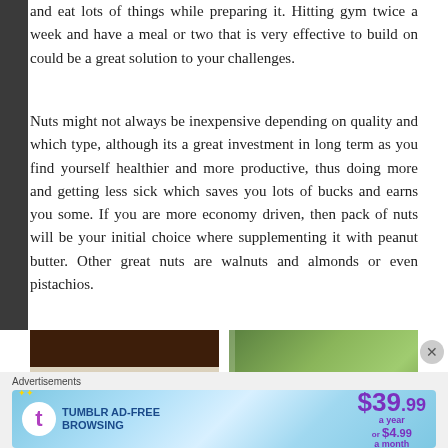and eat lots of things while preparing it. Hitting gym twice a week and have a meal or two that is very effective to build on could be a great solution to your challenges.
Nuts might not always be inexpensive depending on quality and which type, although its a great investment in long term as you find yourself healthier and more productive, thus doing more and getting less sick which saves you lots of bucks and earns you some. If you are more economy driven, then pack of nuts will be your initial choice where supplementing it with peanut butter. Other great nuts are walnuts and almonds or even pistachios.
[Figure (photo): Photo of Alesto branded nuts package with dark brown packaging on a light background]
[Figure (photo): Photo of fresh green leafy vegetables in a clear plastic container]
Advertisements
[Figure (other): Tumblr Ad-Free Browsing advertisement banner showing $39.99 a year or $4.99 a month]